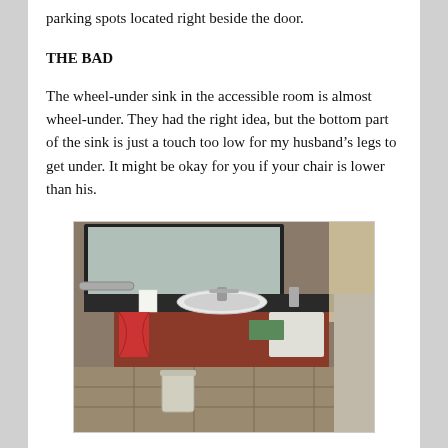parking spots located right beside the door.
THE BAD
The wheel-under sink in the accessible room is almost wheel-under. They had the right idea, but the bottom part of the sink is just a touch too low for my husband’s legs to get under. It might be okay for you if your chair is lower than his.
[Figure (photo): Photo of a hotel bathroom showing a wheel-under sink with dark countertop, mirror, grab bar, faucet, and red towels hanging below the sink. A small trash can sits on the tile floor below.]